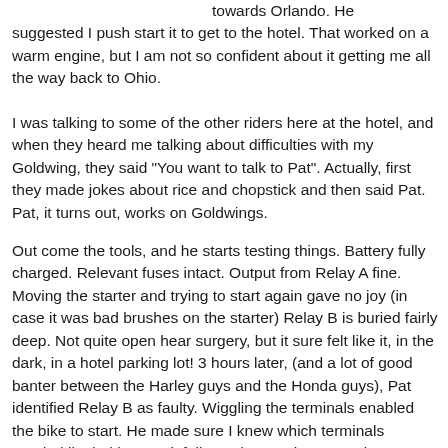towards Orlando. He suggested I push start it to get to the hotel. That worked on a warm engine, but I am not so confident about it getting me all the way back to Ohio.
I was talking to some of the other riders here at the hotel, and when they heard me talking about difficulties with my Goldwing, they said "You want to talk to Pat". Actually, first they made jokes about rice and chopstick and then said Pat. Pat, it turns out, works on Goldwings.
Out come the tools, and he starts testing things. Battery fully charged. Relevant fuses intact. Output from Relay A fine. Moving the starter and trying to start again gave no joy (in case it was bad brushes on the starter) Relay B is buried fairly deep. Not quite open hear surgery, but it sure felt like it, in the dark, in a hotel parking lot! 3 hours later, (and a lot of good banter between the Harley guys and the Honda guys), Pat identified Relay B as faulty. Wiggling the terminals enabled the bike to start. He made sure I knew which terminals needed jiggled in case it fails on the way home, and we buttoned everything up.